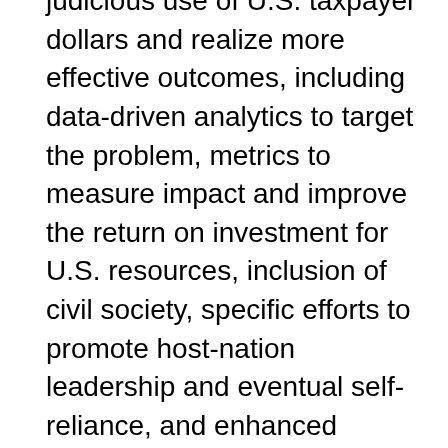judicious use of U.S. taxpayer dollars and realize more effective outcomes, including data-driven analytics to target the problem, metrics to measure impact and improve the return on investment for U.S. resources, inclusion of civil society, specific efforts to promote host-nation leadership and eventual self-reliance, and enhanced international partnerships and burden-sharing.
One of our key efforts is developing atrocity early warning systems and informing timely, actionable interventions. As the Secretariat for the White House-led Atrocity Early Warning Task Force (AEWTF), CSO is creating heat maps of civilian killings at subnational levels and developing atrocity early warning tools, to include geospatial analysis. The AEWTF uses various atrocity risk assessments to guide its work, including